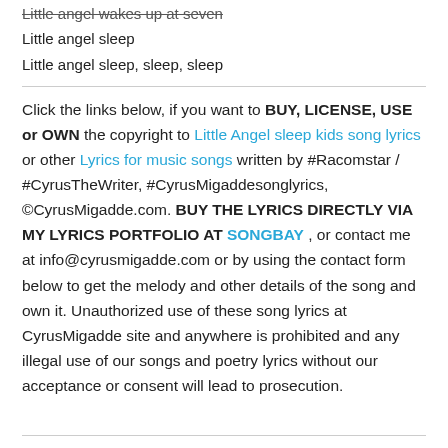Little angel wakes up at seven
Little angel sleep
Little angel sleep, sleep, sleep
Click the links below, if you want to BUY, LICENSE, USE or OWN the copyright to Little Angel sleep kids song lyrics or other Lyrics for music songs written by #Racomstar / #CyrusTheWriter, #CyrusMigaddesonglyrics, ©CyrusMigadde.com. BUY THE LYRICS DIRECTLY VIA MY LYRICS PORTFOLIO AT SONGBAY , or contact me at info@cyrusmigadde.com or by using the contact form below to get the melody and other details of the song and own it. Unauthorized use of these song lyrics at CyrusMigadde site and anywhere is prohibited and any illegal use of our songs and poetry lyrics without our acceptance or consent will lead to prosecution.